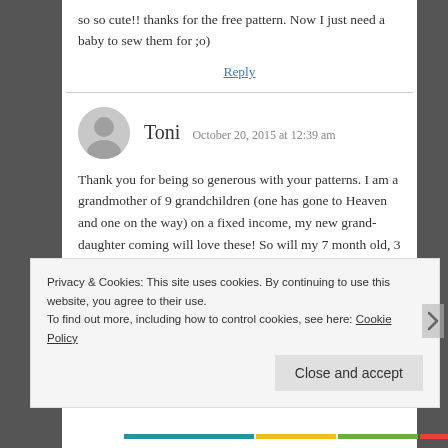so so cute!! thanks for the free pattern. Now I just need a baby to sew them for ;o)
Reply
Toni  October 20, 2015 at 12:39 am
Thank you for being so generous with your patterns. I am a grandmother of 9 grandchildren (one has gone to Heaven and one on the way) on a fixed income, my new grand-daughter coming will love these! So will my 7 month old, 3 & 5 year olds!!
Privacy & Cookies: This site uses cookies. By continuing to use this website, you agree to their use.
To find out more, including how to control cookies, see here: Cookie Policy
Close and accept